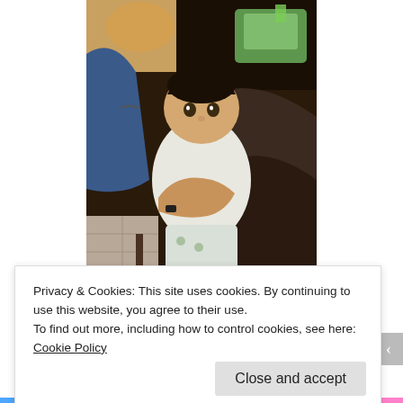[Figure (photo): A woman holding a baby indoors. The baby has dark hair and is wearing a white outfit. Another person is visible on the left side. There is a baby bouncer in the background upper right. The floor is tile.]
Privacy & Cookies: This site uses cookies. By continuing to use this website, you agree to their use.
To find out more, including how to control cookies, see here: Cookie Policy
Close and accept